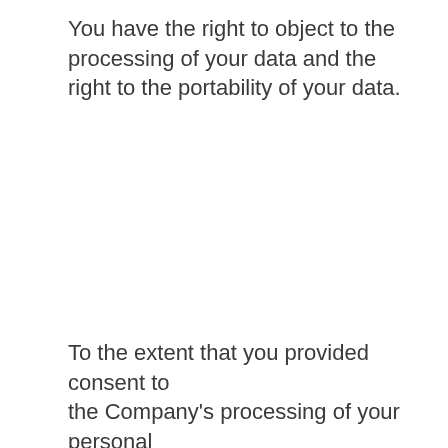You have the right to object to the processing of your data and the right to the portability of your data.
To the extent that you provided consent to the Company's processing of your personal data, you have the right to withdraw that consent at any time, without affecting the